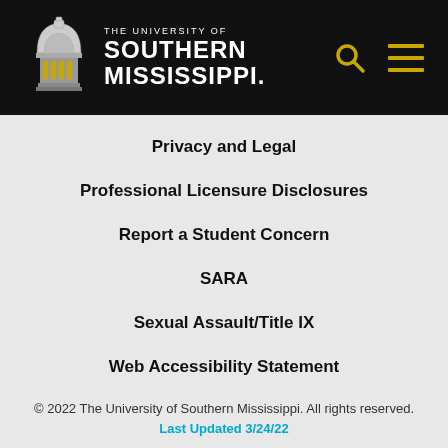[Figure (logo): The University of Southern Mississippi logo with capitol dome building and university name in white text on black background, with search and menu icons]
Privacy and Legal
Professional Licensure Disclosures
Report a Student Concern
SARA
Sexual Assault/Title IX
Web Accessibility Statement
© 2022 The University of Southern Mississippi. All rights reserved. Last Updated 3/24/22